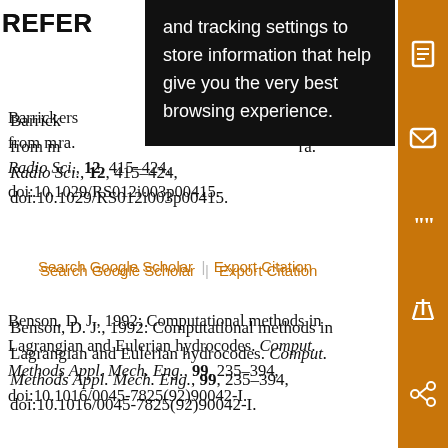REFER[ENCES]
Barrick[…] from m[…] Radio Sci., 12, 415–424, doi:10.1029/RS012i003p00415.
Search Google Scholar | Export Citation
Benson, D. J., 1992: Computational methods in Lagrangian and Eulerian hydrocodes. Comput. Methods Appl. Mech. Eng., 99, 235–394, doi:10.1016/0045-7825(92)90042-I.
Search Google Scholar | Export Citation
Berta, M., Bellomo L. , Magaldi M. G. , Griffa A. , Molcard A. , Marmain J. , Borghini M. , and Taillandier M., 2014: Estimating Lagrangian…